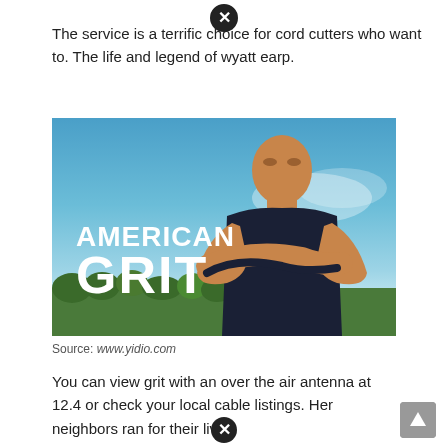[Figure (other): Close button icon (X in circle) at top center]
The service is a terrific choice for cord cutters who want to. The life and legend of wyatt earp.
[Figure (photo): Promotional image for TV show 'American Grit' featuring a muscular man in a black sleeveless shirt with arms crossed, against a sky and trees background, with the show title 'AMERICAN GRIT' in bold white text on the left.]
Source: www.yidio.com
You can view grit with an over the air antenna at 12.4 or check your local cable listings. Her neighbors ran for their lives.
[Figure (other): Close button icon (X in circle) at bottom center]
[Figure (other): Scroll to top button (arrow up) at bottom right]